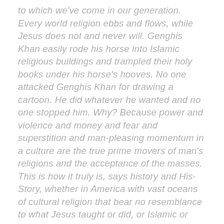to which we've come in our generation. Every world religion ebbs and flows, while Jesus does not and never will. Genghis Khan easily rode his horse into Islamic religious buildings and trampled their holy books under his horse's hooves. No one attacked Genghis Khan for drawing a cartoon. He did whatever he wanted and no one stopped him. Why? Because power and violence and money and fear and superstition and man-pleasing momentum in a culture are the true prime movers of man's religions and the acceptance of the masses. This is how it truly is, says history and His-Story, whether in America with vast oceans of cultural religion that bear no resemblance to what Jesus taught or did, or Islamic or Buddhist or Hindu nations. Jesus is unlike any of that, forever "Other" and inviting us to Him and His Father and a fellowship with the Godhead, with Heaven and with "one another" in a totally abandoned Life called Church, called Ekklesia, called